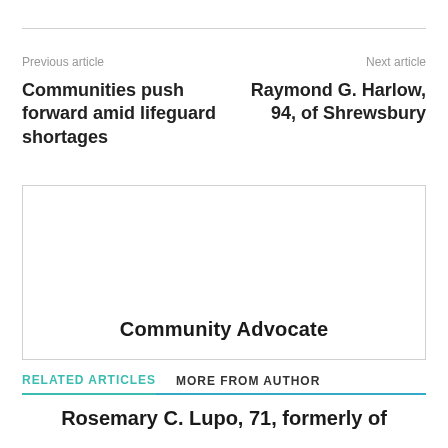Previous article
Next article
Communities push forward amid lifeguard shortages
Raymond G. Harlow, 94, of Shrewsbury
[Figure (logo): Community Advocate advertisement box with bold text 'Community Advocate' centered near the bottom]
RELATED ARTICLES
MORE FROM AUTHOR
Rosemary C. Lupo, 71, formerly of